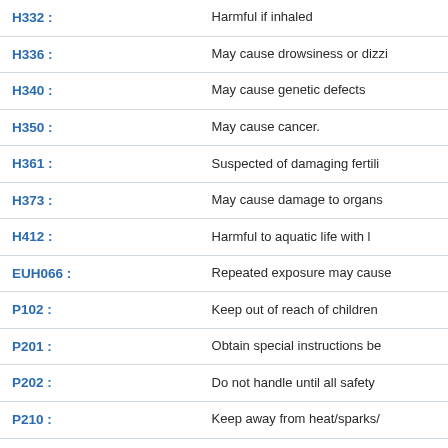| Code | Description |
| --- | --- |
| H332 : | Harmful if inhaled |
| H336 : | May cause drowsiness or dizzi... |
| H340 : | May cause genetic defects |
| H350 : | May cause cancer. |
| H361 : | Suspected of damaging fertili... |
| H373 : | May cause damage to organs |
| H412 : | Harmful to aquatic life with l... |
| EUH066 : | Repeated exposure may cause... |
| P102 : | Keep out of reach of children |
| P201 : | Obtain special instructions be... |
| P202 : | Do not handle until all safety |
| P210 : | Keep away from heat/sparks/... |
| P233 : | Keep container tightly closed |